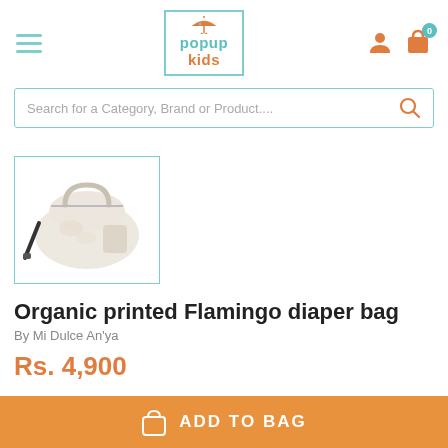popup kids
Search for a Category, Brand or Product....
[Figure (photo): Product photo of an organic printed flamingo diaper bag, light beige/cream colored with flamingo print, shown with handles up and crossbody strap]
Organic printed Flamingo diaper bag
By Mi Dulce An'ya
Rs. 4,900
ADD TO BAG